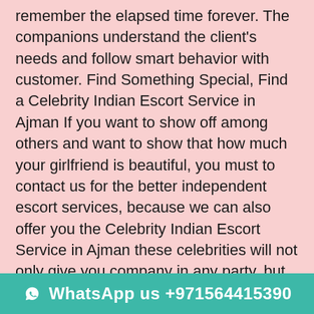remember the elapsed time forever. The companions understand the client's needs and follow smart behavior with customer. Find Something Special, Find a Celebrity Indian Escort Service in Ajman If you want to show off among others and want to show that how much your girlfriend is beautiful, you must to contact us for the better independent escort services, because we can also offer you the Celebrity Indian Escort Service in Ajman these celebrities will not only give you company in any party, but also keep their eyes on your every activity and will give you full attention. So, you will feel royal and can become a king of that particular party or occasion. High Profile Indian Escorts in Ajman Our High Profile Indian Escorts in Ajman will surely satisfied you totally from your body to soul, because they can treat you as better as you want, they can give you their best than better company. So, you would have a perfect experience of their company and you can contact us again whenever you will feel alone. They are capable to g... you want to love them and want to do something more
WhatsApp us +971564415390